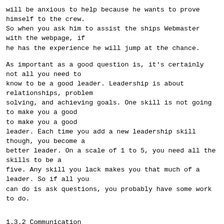will be anxious to help because he wants to prove himself to the crew.
So when you ask him to assist the ships Webmaster with the webpage, if
he has the experience he will jump at the chance.
As important as a good question is, it's certainly not all you need to
know to be a good leader. Leadership is about relationships, problem
solving, and achieving goals. One skill is not going to make you a good
leader. Each time you add a new leadership skill though, you become a
better leader. On a scale of 1 to 5, you need all the skills to be a
five. Any skill you lack makes you that much of a leader. So if all you
can do is ask questions, you probably have some work to do.
1.3.2 Communication
Communication has to be one of the more important. You might think of
this as the ability to get and give information. If you communicate in
such a way that people understand what you need and why you need it,